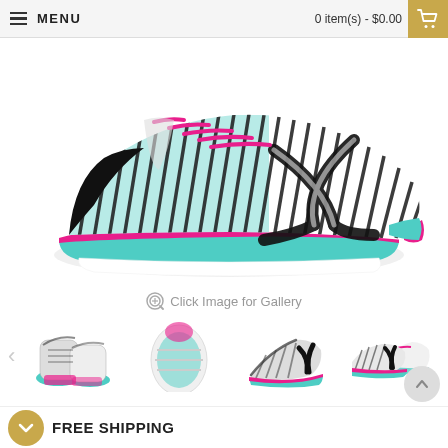MENU  |  0 item(s) - $0.00
[Figure (photo): Side view of ASICS running shoe with black/white diagonal stripe pattern upper, teal/mint midsole, pink laces and pink accent on midsole, black ASICS logo on side]
Click Image for Gallery
[Figure (photo): Four thumbnail views of the same ASICS running shoe from different angles: front view, top/sole view, front-facing view, and side paired view]
FREE SHIPPING